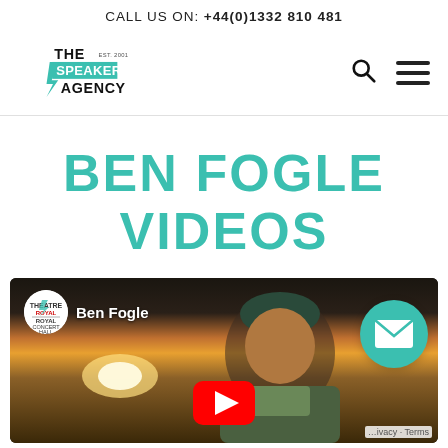CALL US ON: +44(0)1332 810 481
[Figure (logo): The Speakers Agency logo with teal speech bubble design and EST. 2001 text]
BEN FOGLE VIDEOS
[Figure (screenshot): YouTube video thumbnail showing Ben Fogle in a desert landscape at sunset with a beanie hat, Royal Concert Hall Theatre Royal channel badge, red YouTube play button, teal email FAB button, and Privacy Terms overlay]